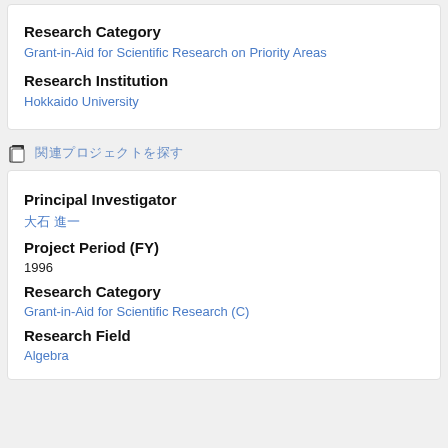Research Category
Grant-in-Aid for Scientific Research on Priority Areas
Research Institution
Hokkaido University
関連プロジェクトを探す
Principal Investigator
大石 進一
Project Period (FY)
1996
Research Category
Grant-in-Aid for Scientific Research (C)
Research Field
Algebra